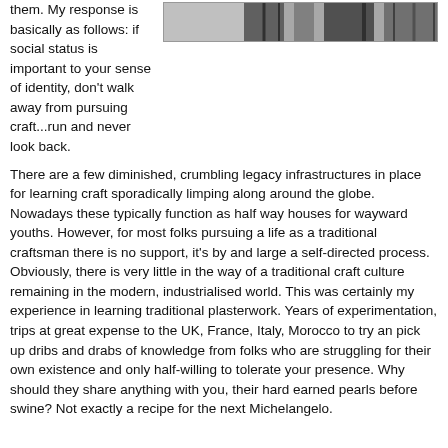them. My response is basically as follows: if social status is important to your sense of identity, don't walk away from pursuing craft...run and never look back.
[Figure (photo): Black and white photograph showing a person, partially visible at top of page]
There are a few diminished, crumbling legacy infrastructures in place for learning craft sporadically limping along around the globe. Nowadays these typically function as half way houses for wayward youths. However, for most folks pursuing a life as a traditional craftsman there is no support, it's by and large a self-directed process. Obviously, there is very little in the way of a traditional craft culture remaining in the modern, industrialised world. This was certainly my experience in learning traditional plasterwork. Years of experimentation, trips at great expense to the UK, France, Italy, Morocco to try an pick up dribs and drabs of knowledge from folks who are struggling for their own existence and only half-willing to tolerate your presence. Why should they share anything with you, their hard earned pearls before swine? Not exactly a recipe for the next Michelangelo.